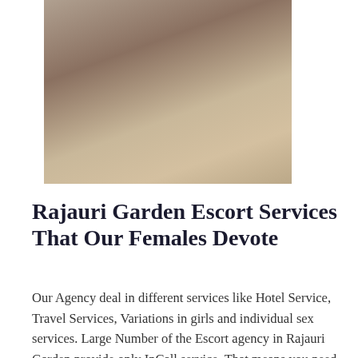[Figure (photo): A woman photographed from behind near wooden stair railings, wearing white shorts with a cat face print.]
Rajauri Garden Escort Services That Our Females Devote
Our Agency deal in different services like Hotel Service, Travel Services, Variations in girls and individual sex services. Large Number of the Escort agency in Rajauri Garden provide only InCall service. That means you need to call them for